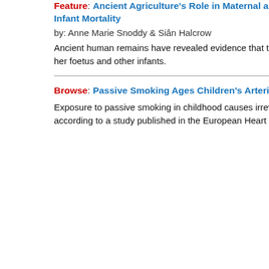Feature: Ancient Agriculture's Role in Maternal and Infant Mortality
by: Anne Marie Snoddy & Siân Halcrow
Ancient human remains have revealed evidence that the adoption of agriculture led to malnutrition in a mother, her foetus and other infants.
Browse: Passive Smoking Ages Children's Arteries
Exposure to passive smoking in childhood causes irreversible damage to the structure of children's arteries, according to a study published in the European Heart Journal.
Feature: Gettin...
by: Amy Nicks... Husain, Ming L...
The discovery t... adolescence op... treating heart d...